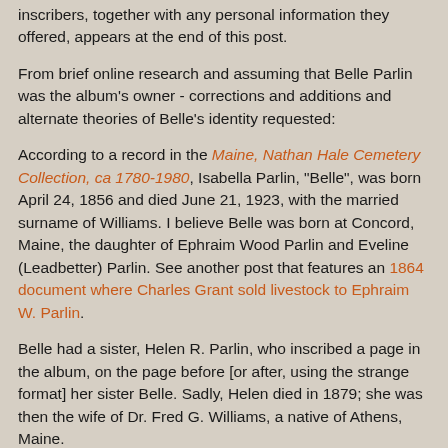inscribers, together with any personal information they offered, appears at the end of this post.
From brief online research and assuming that Belle Parlin was the album's owner - corrections and additions and alternate theories of Belle's identity requested:
According to a record in the Maine, Nathan Hale Cemetery Collection, ca 1780-1980, Isabella Parlin, "Belle", was born April 24, 1856 and died June 21, 1923, with the married surname of Williams. I believe Belle was born at Concord, Maine, the daughter of Ephraim Wood Parlin and Eveline (Leadbetter) Parlin. See another post that features an 1864 document where Charles Grant sold livestock to Ephraim W. Parlin.
Belle had a sister, Helen R. Parlin, who inscribed a page in the album, on the page before [or after, using the strange format] her sister Belle. Sadly, Helen died in 1879; she was then the wife of Dr. Fred G. Williams, a native of Athens, Maine.